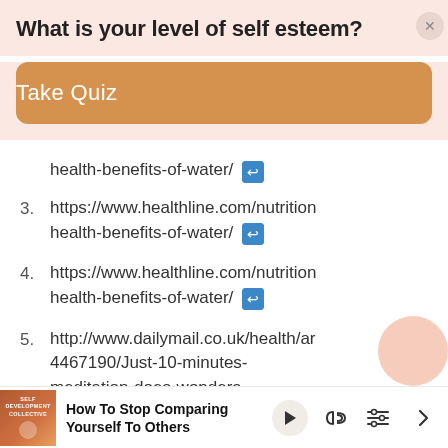What is your level of self esteem?
[Figure (other): Take Quiz button - orange/tan rounded rectangle button]
health-benefits-of-water/ [link icon]
3. https://www.healthline.com/nutrition health-benefits-of-water/ [link icon]
4. https://www.healthline.com/nutrition health-benefits-of-water/ [link icon]
5. http://www.dailymail.co.uk/health/ar 4467190/Just-10-minutes-meditation-does-wonders-brain.html [link icon]
6. https://www.huffingtonpost.com/t
How To Stop Comparing Yourself To Others